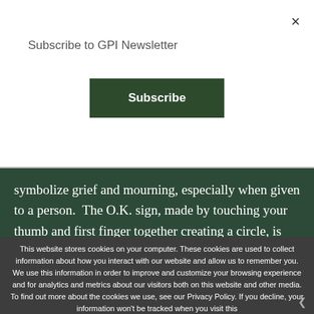Subscribe to GPI Newsletter
Subscribe
symbolize grief and mourning, especially when given to a person.  The O.K. sign, made by touching your thumb and first finger together creating a circle, is considered a vulgar symbol.  Brazil is also a risk-adverse society, and it is important to reduce risk and anxiety for online shoppers.
This website stores cookies on your computer. These cookies are used to collect information about how you interact with our website and allow us to remember you. We use this information in order to improve and customize your browsing experience and for analytics and metrics about our visitors both on this website and other media. To find out more about the cookies we use, see our Privacy Policy. If you decline, your information won't be tracked when you visit this